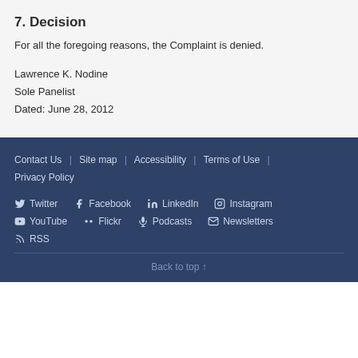7. Decision
For all the foregoing reasons, the Complaint is denied.
Lawrence K. Nodine
Sole Panelist
Dated: June 28, 2012
Contact Us | Site map | Accessibility | Terms of Use | Privacy Policy
Twitter  Facebook  LinkedIn  Instagram
YouTube  Flickr  Podcasts  Newsletters
RSS
Back to top ↑